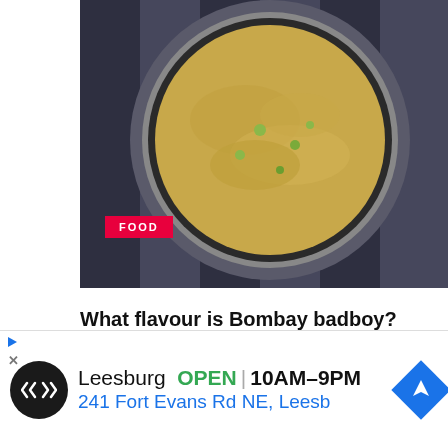[Figure (photo): Top-down photo of a bowl of Bombay Badboy noodles in curry sauce on a dark striped surface, with a red FOOD badge overlay]
What flavour is Bombay badboy?
What flavour is Bombay badboy? Noodles in an incredibly hot curry flavour sauce with vegetables and a little sachet of...
[Figure (infographic): Advertisement banner: Leesburg OPEN 10AM-9PM, 241 Fort Evans Rd NE, Leesb — with a circular black logo with a navigation arrow symbol and a blue diamond navigation icon]